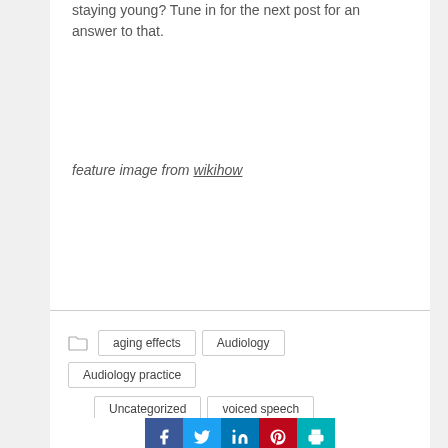staying young? Tune in for the next post for an answer to that.
feature image from wikihow
aging effects  Audiology  Audiology practice  Uncategorized  voiced speech  whispered speech